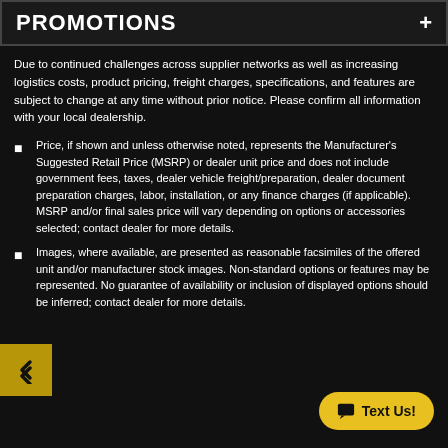PROMOTIONS
Due to continued challenges across supplier networks as well as increasing logistics costs, product pricing, freight charges, specifications, and features are subject to change at any time without prior notice. Please confirm all information with your local dealership.
Price, if shown and unless otherwise noted, represents the Manufacturer's Suggested Retail Price (MSRP) or dealer unit price and does not include government fees, taxes, dealer vehicle freight/preparation, dealer document preparation charges, labor, installation, or any finance charges (if applicable). MSRP and/or final sales price will vary depending on options or accessories selected; contact dealer for more details.
Images, where available, are presented as reasonable facsimiles of the offered unit and/or manufacturer stock images. Non-standard options or features may be represented. No guarantee of availability or inclusion of displayed options should be inferred; contact dealer for more details.